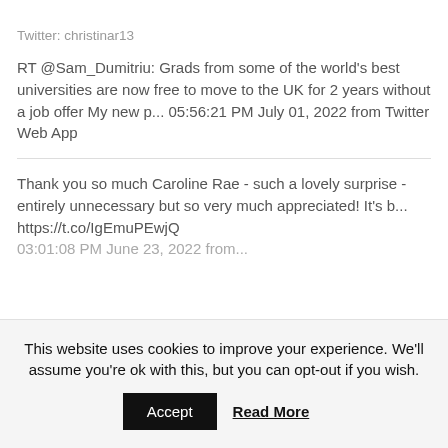Twitter: christinar13
RT @Sam_Dumitriu: Grads from some of the world's best universities are now free to move to the UK for 2 years without a job offer My new p... 05:56:21 PM July 01, 2022 from Twitter Web App
Thank you so much Caroline Rae - such a lovely surprise - entirely unnecessary but so very much appreciated! It's b... https://t.co/IgEmuPEwjQ
03:01:08 PM June 23, 2022 from...
This website uses cookies to improve your experience. We'll assume you're ok with this, but you can opt-out if you wish.
Accept
Read More